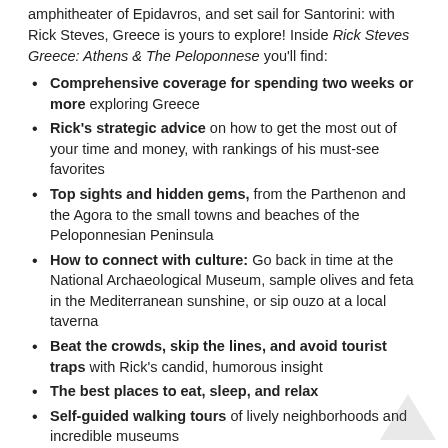amphitheater of Epidavros, and set sail for Santorini: with Rick Steves, Greece is yours to explore! Inside Rick Steves Greece: Athens & The Peloponnese you'll find:
Comprehensive coverage for spending two weeks or more exploring Greece
Rick's strategic advice on how to get the most out of your time and money, with rankings of his must-see favorites
Top sights and hidden gems, from the Parthenon and the Agora to the small towns and beaches of the Peloponnesian Peninsula
How to connect with culture: Go back in time at the National Archaeological Museum, sample olives and feta in the Mediterranean sunshine, or sip ouzo at a local taverna
Beat the crowds, skip the lines, and avoid tourist traps with Rick's candid, humorous insight
The best places to eat, sleep, and relax
Self-guided walking tours of lively neighborhoods and incredible museums
Detailed maps for exploringon the go
Useful resources including a packing list, a Greek phrase book, a historical overview, and recommended reading